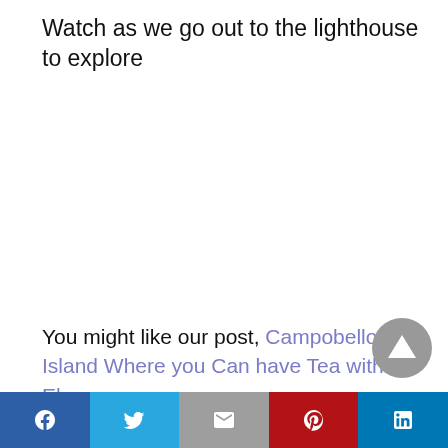Watch as we go out to the lighthouse to explore
You might like our post, Campobello Island Where you Can have Tea with Eleanor.
[Figure (infographic): Social share bar with Facebook, Twitter, Gmail, Pinterest, and LinkedIn buttons]
[Figure (other): Scroll-to-top circular button with upward triangle arrow]